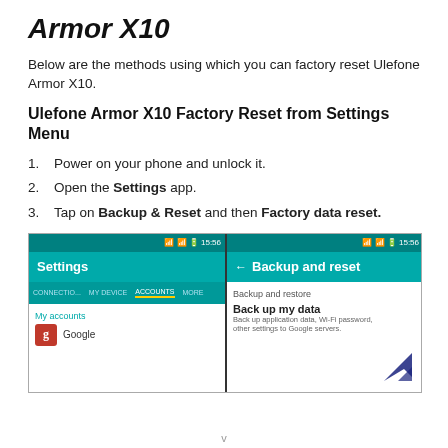Armor X10
Below are the methods using which you can factory reset Ulefone Armor X10.
Ulefone Armor X10 Factory Reset from Settings Menu
Power on your phone and unlock it.
Open the Settings app.
Tap on Backup & Reset and then Factory data reset.
[Figure (screenshot): Two screenshots of Android phone. Left shows Settings app with CONNECTIONS, MY DEVICE, ACCOUNTS, MORE tabs. Right shows Backup and reset screen with Backup and restore and Back up my data options.]
v